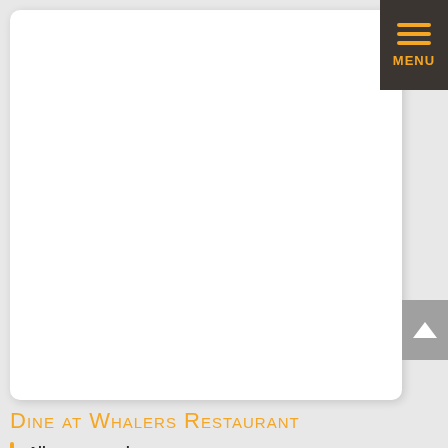[Figure (screenshot): Navigation menu button with orange hamburger icon lines and MENU label on dark brown/charcoal background, positioned top right]
[Figure (other): White rounded card/panel area occupying most of the upper portion of the page, with drop shadow on gray background]
[Figure (other): Gray scroll-to-top button with white upward arrow, positioned on right side]
Dine at Whalers Restaurant
All year around
Nested within the Escape Resort, Whalers has a wonderful